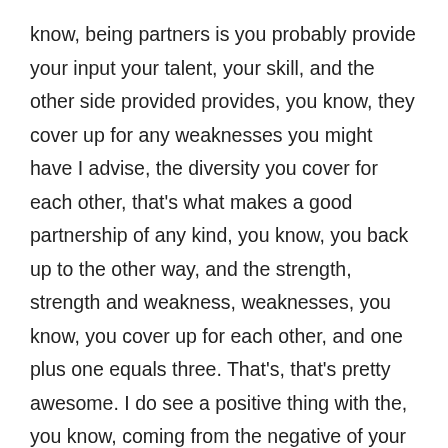know, being partners is you probably provide your input your talent, your skill, and the other side provided provides, you know, they cover up for any weaknesses you might have I advise, the diversity you cover for each other, that's what makes a good partnership of any kind, you know, you back up to the other way, and the strength, strength and weakness, weaknesses, you know, you cover up for each other, and one plus one equals three. That's, that's pretty awesome. I do see a positive thing with the, you know, coming from the negative of your experience. Okay, so this is where you are today, right? I mean, what are your today? What are your current main challenges, you know, from the challenge that you sell yourself in a better position? Now, what are your main challenges? Or, you know, maybe